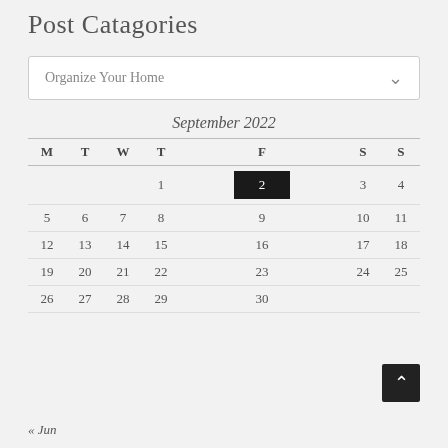Post Catagories
Organize Your Home
[Figure (other): September 2022 calendar with day 2 highlighted in black]
« Jun